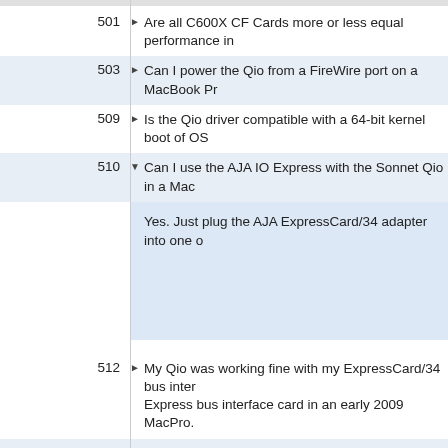501  ▶ Are all C600X CF Cards more or less equal performance in...
503  ▶ Can I power the Qio from a FireWire port on a MacBook Pr...
509  ▶ Is the Qio driver compatible with a 64-bit kernel boot of OS...
510  ▼ Can I use the AJA IO Express with the Sonnet Qio in a Mac...
Yes. Just plug the AJA ExpressCard/34 adapter into one o...
512  ▶ My Qio was working fine with my ExpressCard/34 bus inter... Express bus interface card in an early 2009 MacPro.
514  ▶ My unibody MacBook Pro will spontaneously restart after s...
516  ▼ What kind of battery can I use with the Qio?
A battery should be capable of providing 12Volts @ 3 Amp... attached F2s are 8 Watts each. An example of a compatib... provide 12Volts @ 7.2Amps and has a 50 Watt-hour capac...